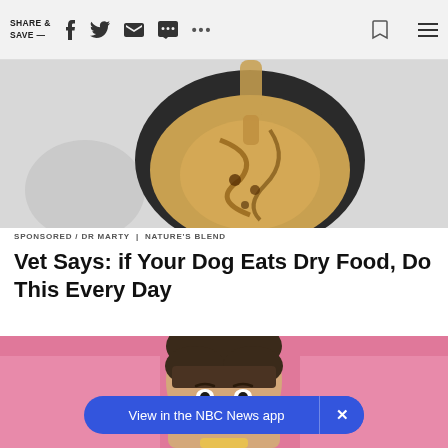SHARE & SAVE —  [social icons: facebook, twitter, email, message, more, bookmark, menu]
[Figure (photo): Partially visible advertisement image showing a dog bowl with food being poured into it, on a light gray background]
SPONSORED / DR MARTY | NATURE'S BLEND
Vet Says: if Your Dog Eats Dry Food, Do This Every Day
[Figure (photo): Close-up photo of a young woman with bangs and dark hair pulled up, looking at the camera, with a pink background]
View in the NBC News app